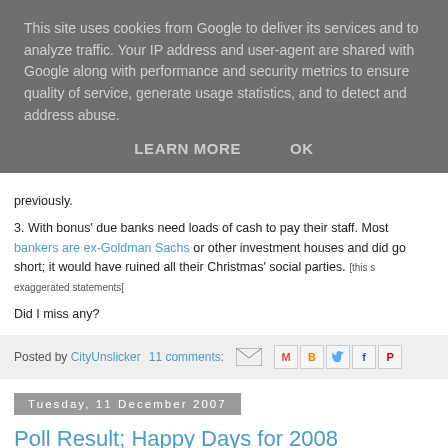This site uses cookies from Google to deliver its services and to analyze traffic. Your IP address and user-agent are shared with Google along with performance and security metrics to ensure quality of service, generate usage statistics, and to detect and address abuse.
LEARN MORE   OK
previously.
3. With bonus' due banks need loads of cash to pay their staff. Most bankers are ex-Goldman Sachs or other investment houses and did go short; it would have ruined all their Christmas' social parties. [this s exaggerated statements[
Did I miss any?
Posted by CityUnslicker   11 comments:
Tuesday, 11 December 2007
Poll Result; Happy Days for 2008